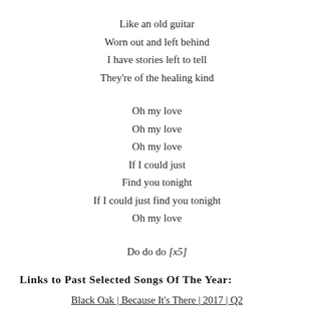Like an old guitar
Worn out and left behind
I have stories left to tell
They're of the healing kind
Oh my love
Oh my love
Oh my love
If I could just
Find you tonight
If I could just find you tonight
Oh my love
Do do do [x5]
Links to Past Selected Songs Of The Year:
Black Oak | Because It's There | 2017 | Q2